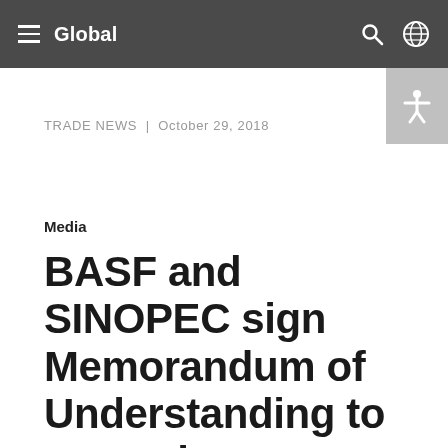Global
TRADE NEWS | October 29, 2018
Media
BASF and SINOPEC sign Memorandum of Understanding to expand cooperation in China